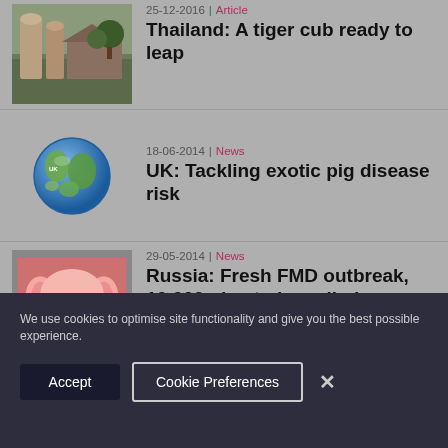25-12-2016 | Article
Thailand: A tiger cub ready to leap
[Figure (photo): Photo of farm buildings with silos and trees]
18-06-2014 | News
UK: Tackling exotic pig disease risk
[Figure (illustration): Globe/Earth illustration]
29-05-2014 | News
Russia: Fresh FMD outbreak, 10,000 pigs to be culled
[Figure (photo): Close-up photo of a pink pig face]
We use cookies to optimise site functionality and give you the best possible experience.